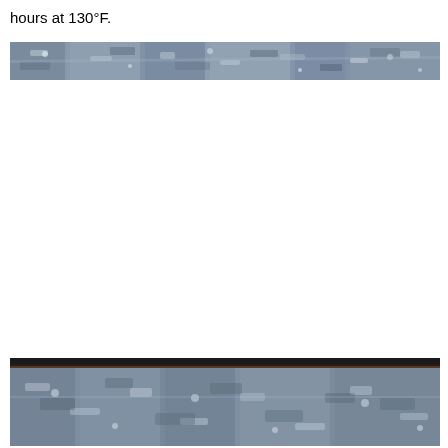hours at 130°F.
[Figure (photo): Thin horizontal band showing a mottled blue-gray material surface, likely a cross-section or surface of a material specimen after thermal testing.]
[Figure (photo): Close-up photo of a material specimen cross-section showing a dark/black top edge and a mottled blue-gray surface below, likely showing material condition after heat exposure at 130°F.]